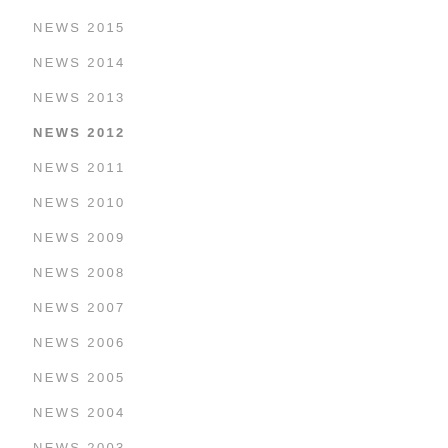NEWS 2015
NEWS 2014
NEWS 2013
NEWS 2012
NEWS 2011
NEWS 2010
NEWS 2009
NEWS 2008
NEWS 2007
NEWS 2006
NEWS 2005
NEWS 2004
NEWS 2003